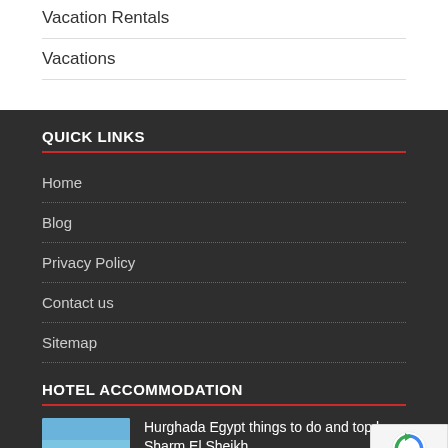Vacation Rentals
Vacations
QUICK LINKS
Home
Blog
Privacy Policy
Contact us
Sitemap
HOTEL ACCOMMODATION
Hurghada Egypt things to do and top bea... Sharm El Sheikh
April 3, 2019